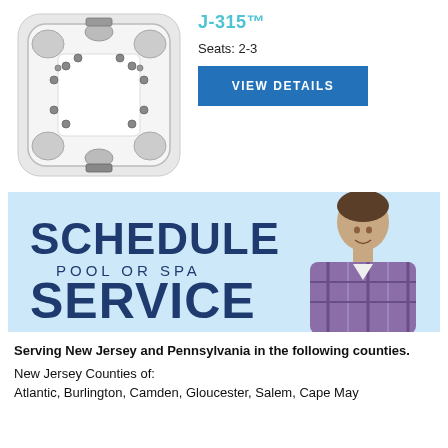J-315™
Seats: 2-3
[Figure (photo): Top-down view of J-315 hot tub / spa with grey seats and jets visible]
[Figure (illustration): Blue banner with text 'SCHEDULE POOL OR SPA SERVICE' and a smiling man in a plaid shirt on a light blue background]
Serving New Jersey and Pennsylvania in the following counties.
New Jersey Counties of:
Atlantic, Burlington, Camden, Gloucester, Salem, Cape May